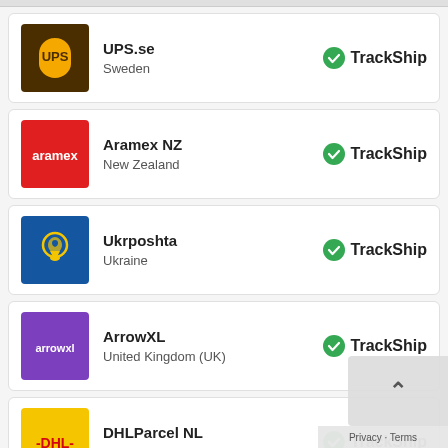UPS.se — Sweden — TrackShip
Aramex NZ — New Zealand — TrackShip
Ukrposhta — Ukraine — TrackShip
ArrowXL — United Kingdom (UK) — TrackShip
DHLParcel NL — Netherlands — TrackShip
DPD UK — TrackShip